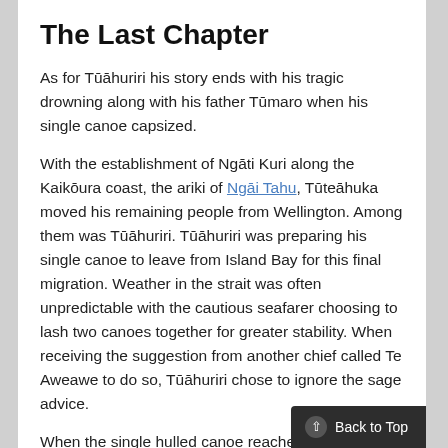The Last Chapter
As for Tūāhuriri his story ends with his tragic drowning along with his father Tūmaro when his single canoe capsized.
With the establishment of Ngāti Kuri along the Kaikōura coast, the ariki of Ngāi Tahu, Tūteāhuka moved his remaining people from Wellington. Among them was Tūāhuriri. Tūāhuriri was preparing his single canoe to leave from Island Bay for this final migration. Weather in the strait was often unpredictable with the cautious seafarer choosing to lash two canoes together for greater stability. When receiving the suggestion from another chief called Te Aweawe to do so, Tūāhuriri chose to ignore the sage advice.
When the single hulled canoe reached th…